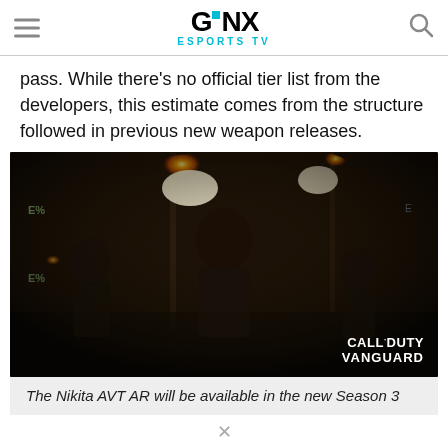GINX ESPORTS TV
pass. While there's no official tier list from the developers, this estimate comes from the structure followed in previous new weapon releases.
[Figure (photo): Call of Duty Vanguard screenshot showing three soldiers in a dark industrial setting, firing weapons with muzzle flashes. The Call of Duty Vanguard logo is visible in the bottom right corner.]
The Nikita AVT AR will be available in the new Season 3